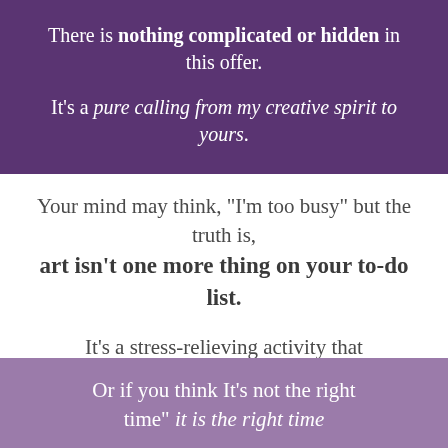There is nothing complicated or hidden in this offer. It's a pure calling from my creative spirit to yours.
Your mind may think, "I'm too busy" but the truth is, art isn't one more thing on your to-do list.
It's a stress-relieving activity that will make you feel lighter and more peaceful.
Or if you think It's not the right time" it is the right time